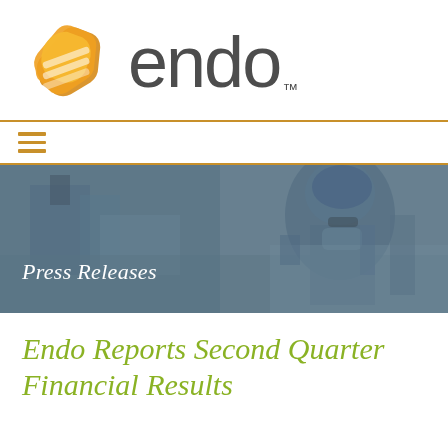[Figure (logo): Endo logo with orange hexagonal icon and 'endo' wordmark with TM symbol]
[Figure (photo): Banner photo of a healthcare worker in blue scrubs, hair net, and face mask working with pharmaceutical equipment, with 'Press Releases' text overlay]
Endo Reports Second Quarter Financial Results